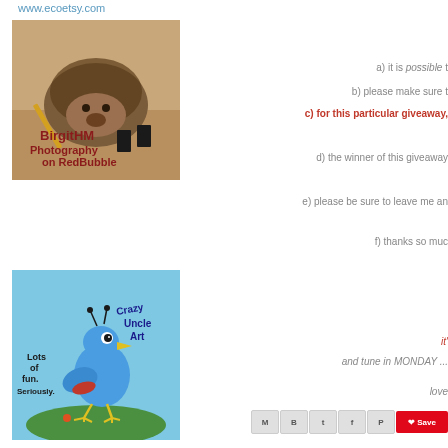www.ecoetsy.com
[Figure (photo): Photo of a stuffed toy hedgehog with text 'BirgitHM Photography on RedBubble']
a) it is possible t
b) please make sure t
c) for this particular giveaway,
d) the winner of this giveaway
e) please be sure to leave me an
f) thanks so muc
[Figure (illustration): Illustration of a cartoon blue bird with text 'Crazy Uncle Art' and 'Lots of fun. Seriously.']
it'
and tune in MONDAY ...
love